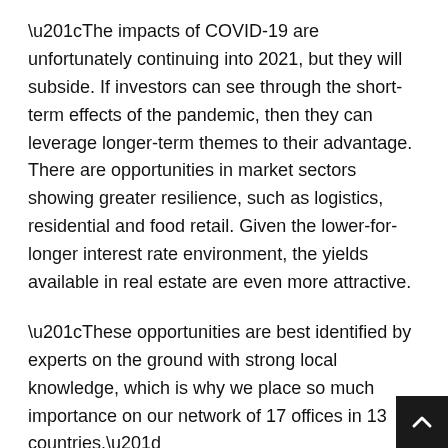“The impacts of COVID-19 are unfortunately continuing into 2021, but they will subside. If investors can see through the short-term effects of the pandemic, then they can leverage longer-term themes to their advantage. There are opportunities in market sectors showing greater resilience, such as logistics, residential and food retail. Given the lower-for-longer interest rate environment, the yields available in real estate are even more attractive.
“These opportunities are best identified by experts on the ground with strong local knowledge, which is why we place so much importance on our network of 17 offices in 13 countries.”
1Outlook 2021: Building resilience in global real estate portfolios, Savills IM, November 2020, https://www.savillsim.com/research/outlook-2021.aspx